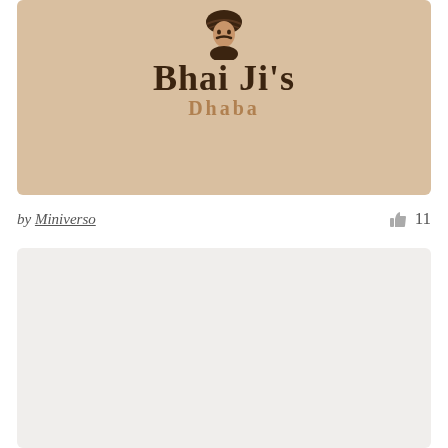[Figure (logo): Bhai Ji's Dhaba logo on a tan/sandy background. Shows a cartoon turbaned figure at the top, then bold dark brown text 'Bhai Ji's' and below in golden-brown letters 'Dhaba'.]
by Miniverso
11
[Figure (other): Light gray/off-white empty card below the attribution row.]